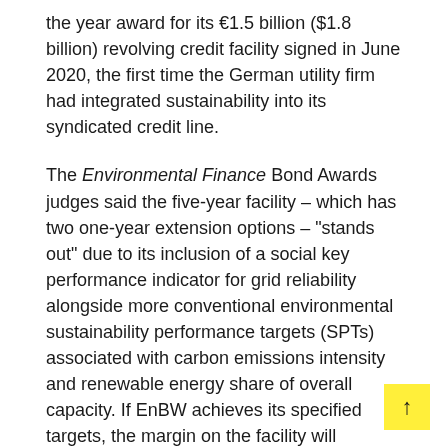the year award for its €1.5 billion ($1.8 billion) revolving credit facility signed in June 2020, the first time the German utility firm had integrated sustainability into its syndicated credit line.
The Environmental Finance Bond Awards judges said the five-year facility – which has two one-year extension options – "stands out" due to its inclusion of a social key performance indicator for grid reliability alongside more conventional environmental sustainability performance targets (SPTs) associated with carbon emissions intensity and renewable energy share of overall capacity. If EnBW achieves its specified targets, the margin on the facility will decrease. Meanwhile, the margin will increase if the firm fails to achieve its targets.
BBVA – which acted as sole sustainability coordinator on the deal – said the targets were chosen due to their transparency because EnBW has consistently reported